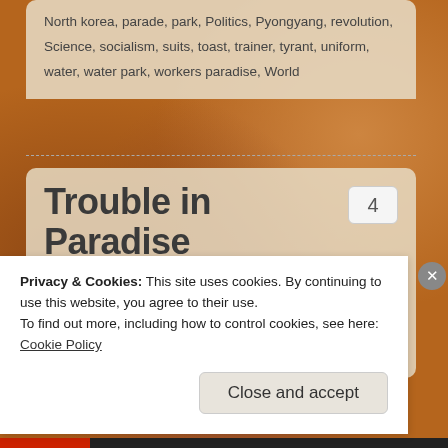North korea, parade, park, Politics, Pyongyang, revolution, Science, socialism, suits, toast, trainer, tyrant, uniform, water, water park, workers paradise, World
Trouble in Paradise
October 3, 2014 by JImbo
Have you ever heard the phrase “First World Problem?”
Privacy & Cookies: This site uses cookies. By continuing to use this website, you agree to their use.
To find out more, including how to control cookies, see here: Cookie Policy
Close and accept